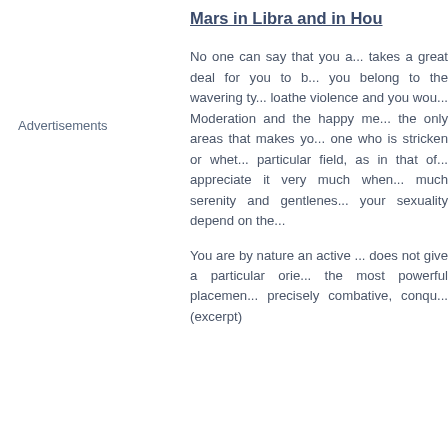Mars in Libra and in Hou
Advertisements
No one can say that you a... takes a great deal for you to b... you belong to the wavering ty... loathe violence and you wou... Moderation and the happy me... the only areas that makes yo... one who is stricken or whet... particular field, as in that of... appreciate it very much when... much serenity and gentlenes... your sexuality depend on the...
You are by nature an active ... does not give a particular orie... the most powerful placemen... precisely combative, conqu... (excerpt)